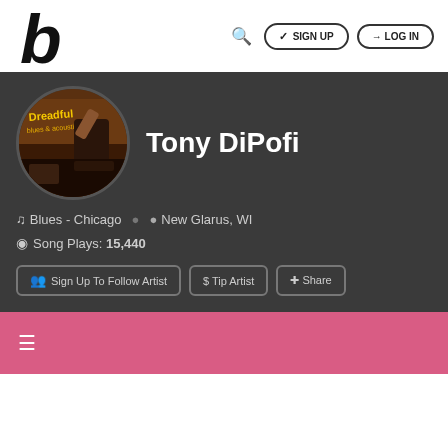[Figure (logo): Bandcamp-style 'b' logo in black]
🔍 SIGN UP   LOG IN
[Figure (photo): Circular artist profile photo showing a bar scene with 'Dreadful' sign]
Tony DiPofi
♫ Blues - Chicago   📍 New Glarus, WI
⊙ Song Plays: 15,440
Sign Up To Follow Artist   $ Tip Artist   Share
≡